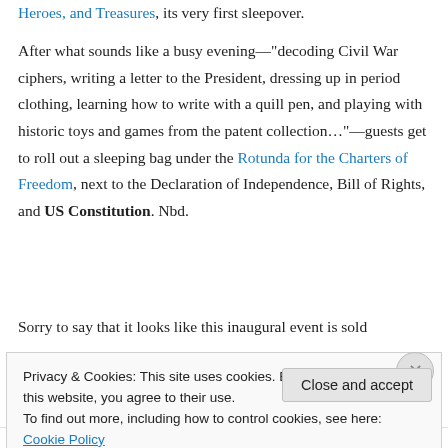Heroes, and Treasures, its very first sleepover.
After what sounds like a busy evening—"decoding Civil War ciphers, writing a letter to the President, dressing up in period clothing, learning how to write with a quill pen, and playing with historic toys and games from the patent collection…"—guests get to roll out a sleeping bag under the Rotunda for the Charters of Freedom, next to the Declaration of Independence, Bill of Rights, and US Constitution. Nbd.
Sorry to say that it looks like this inaugural event is sold
Privacy & Cookies: This site uses cookies. By continuing to use this website, you agree to their use.
To find out more, including how to control cookies, see here: Cookie Policy
Close and accept